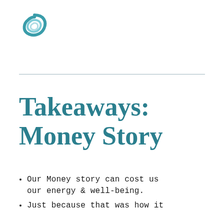[Figure (logo): Circular teal wave/swirl logo icon]
Takeaways: Money Story
Our Money story can cost us our energy & well-being.
Just because that was how it